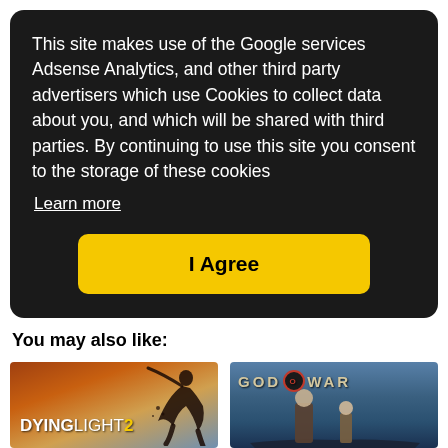This site makes use of the Google services Adsense Analytics, and other third party advertisers which use Cookies to collect data about you, and which will be shared with third parties. By continuing to use this site you consent to the storage of these cookies
Learn more
I Agree
You may also like:
[Figure (illustration): Dying Light 2 game cover art showing a silhouette of a person swinging with text DYING LIGHT 2 in the lower left]
[Figure (illustration): God of War game cover art showing Kratos and Atreus in a Viking setting with GOD OF WAR text at the top]